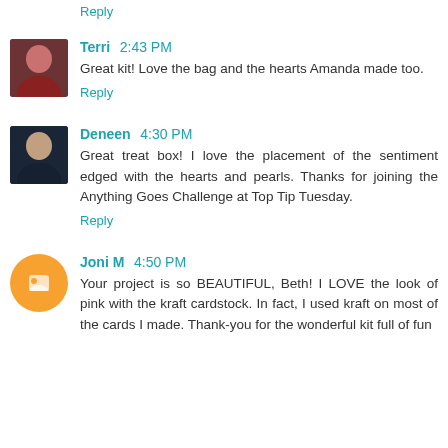Reply
Terri  2:43 PM
Great kit! Love the bag and the hearts Amanda made too.
Reply
Deneen  4:30 PM
Great treat box! I love the placement of the sentiment edged with the hearts and pearls. Thanks for joining the Anything Goes Challenge at Top Tip Tuesday.
Reply
Joni M  4:50 PM
Your project is so BEAUTIFUL, Beth! I LOVE the look of pink with the kraft cardstock. In fact, I used kraft on most of the cards I made. Thank-you for the wonderful kit full of fun supplies. And Amanda also really shows the work she put into